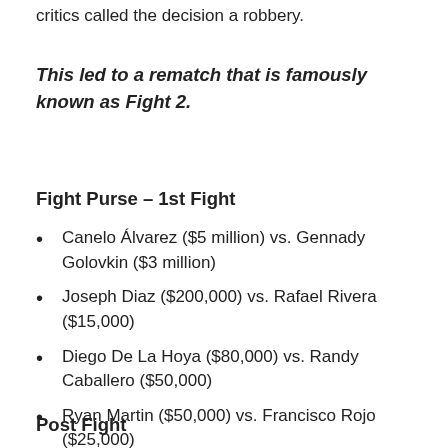critics called the decision a robbery.
This led to a rematch that is famously known as Fight 2.
Fight Purse – 1st Fight
Canelo Álvarez ($5 million) vs. Gennady Golovkin ($3 million)
Joseph Diaz ($200,000) vs. Rafael Rivera ($15,000)
Diego De La Hoya ($80,000) vs. Randy Caballero ($50,000)
Ryan Martin ($50,000) vs. Francisco Rojo ($25,000)
Post Fight